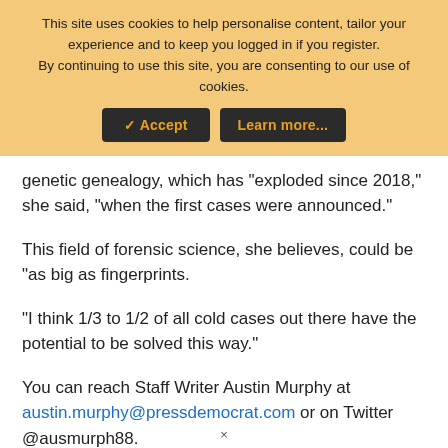This site uses cookies to help personalise content, tailor your experience and to keep you logged in if you register.
By continuing to use this site, you are consenting to our use of cookies.
✓ Accept   Learn more...
genetic genealogy, which has “exploded since 2018,” she said, “when the first cases were announced.”
This field of forensic science, she believes, could be “as big as fingerprints.
“I think 1/3 to 1/2 of all cold cases out there have the potential to be solved this way.”
You can reach Staff Writer Austin Murphy at austin.murphy@pressdemocrat.com or on Twitter @ausmurph88.
×